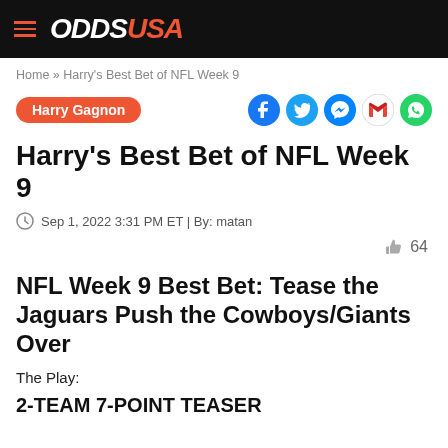ODDSUSA
Home » Harry's Best Bet of NFL Week 9
Harry Gagnon
Harry's Best Bet of NFL Week 9
Sep 1, 2022 3:31 PM ET | By: matan
64
NFL Week 9 Best Bet: Tease the Jaguars Push the Cowboys/Giants Over
The Play:
2-TEAM 7-POINT TEASER